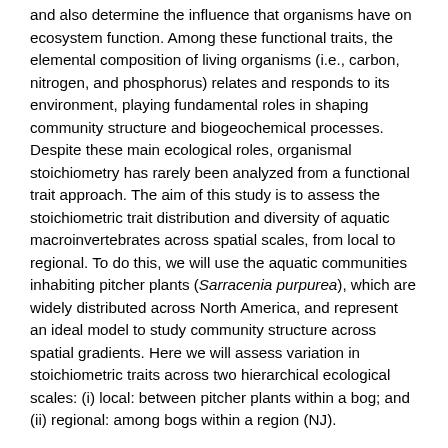and also determine the influence that organisms have on ecosystem function. Among these functional traits, the elemental composition of living organisms (i.e., carbon, nitrogen, and phosphorus) relates and responds to its environment, playing fundamental roles in shaping community structure and biogeochemical processes. Despite these main ecological roles, organismal stoichiometry has rarely been analyzed from a functional trait approach. The aim of this study is to assess the stoichiometric trait distribution and diversity of aquatic macroinvertebrates across spatial scales, from local to regional. To do this, we will use the aquatic communities inhabiting pitcher plants (Sarracenia purpurea), which are widely distributed across North America, and represent an ideal model to study community structure across spatial gradients. Here we will assess variation in stoichiometric traits across two hierarchical ecological scales: (i) local: between pitcher plants within a bog; and (ii) regional: among bogs within a region (NJ).